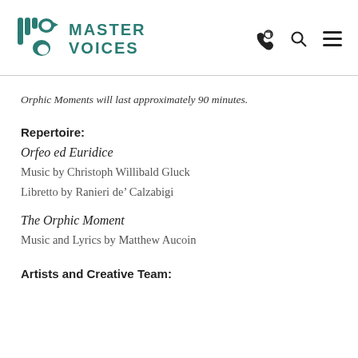[Figure (logo): Master Voices logo with teal decorative mark and bold teal text reading MASTER VOICES]
Orphic Moments will last approximately 90 minutes.
Repertoire:
Orfeo ed Euridice
Music by Christoph Willibald Gluck
Libretto by Ranieri de’ Calzabigi
The Orphic Moment
Music and Lyrics by Matthew Aucoin
Artists and Creative Team: